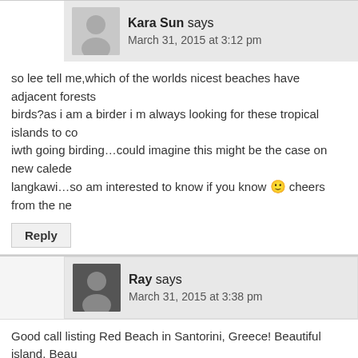Kara Sun says — March 31, 2015 at 3:12 pm
so lee tell me,which of the worlds nicest beaches have adjacent forests... birds?as i am a birder i m always looking for these tropical islands to co... iwth going birding…could imagine this might be the case on new caledo... langkawi…so am interested to know if you know 🙂 cheers from the ne...
Reply
Ray says — March 31, 2015 at 3:38 pm
Good call listing Red Beach in Santorini, Greece! Beautiful island. Beau... However, I am a little shocked and flabbergasted that you didn't list Dev... as the #1 beach in the World. Ha! 😀
Reply
Stephenie Domfe says — April 1, 2015 at 12:54 pm